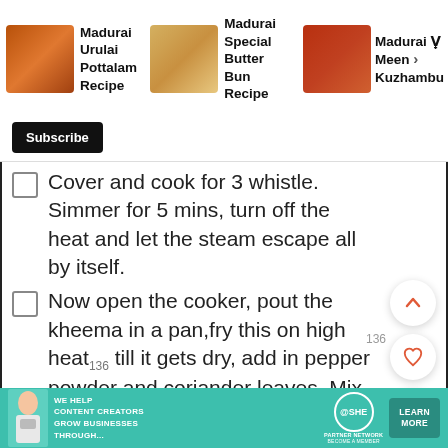[Figure (screenshot): Top navigation bar with recipe thumbnails: Madurai Urulai Pottalam Recipe, Madurai Special Butter Bun Recipe, Madurai Vee Meen Kuzhambu (partially visible)]
Cover and cook for 3 whistle. Simmer for 5 mins, turn off the heat and let the steam escape all by itself.
Now open the cooker, pout the kheema in a pan,fry this on high heat till it gets dry, add in pepper powder and coriander leaves. Mix well Kheema is done.
Crack egg in a bowl, season with salt
[Figure (screenshot): Advertisement banner: SHE Partner Network - We help content creators grow businesses through...]